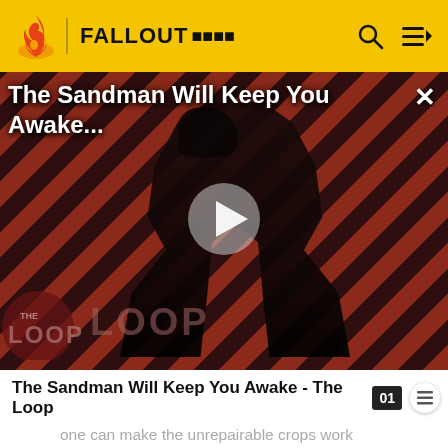FALLOUT Wiki
[Figure (screenshot): Video thumbnail for 'The Sandman Will Keep You Awake...' showing a dark-cloaked figure against a diagonal red and dark striped background, with a play button in the center and 'THE LOOP' watermark at bottom left.]
The Sandman Will Keep You Awake - The Loop
one can make the unrepairable crops work properly again by using console commands: first enter the console and select the damaged crop, repair it with SetDestroyed 0,